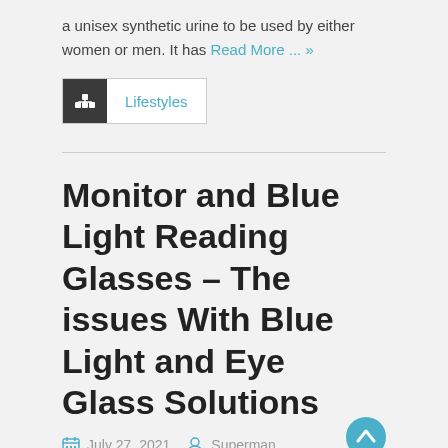a unisex synthetic urine to be used by either women or men. It has Read More ... »
Lifestyles
Monitor and Blue Light Reading Glasses – The issues With Blue Light and Eye Glass Solutions
July 27, 2021   Superman
Intro – Throughout the last a long period, as hand-held devices like mobile phones, iPads and tablets, have grown